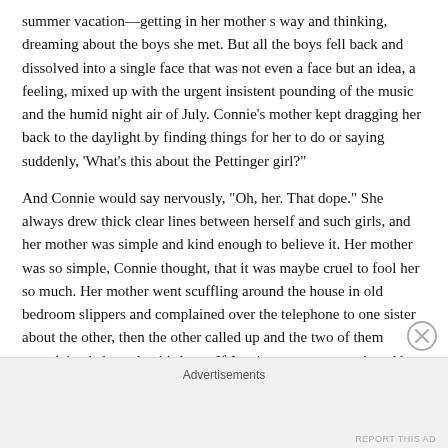summer vacation—getting in her mother s way and thinking, dreaming about the boys she met. But all the boys fell back and dissolved into a single face that was not even a face but an idea, a feeling, mixed up with the urgent insistent pounding of the music and the humid night air of July. Connie's mother kept dragging her back to the daylight by finding things for her to do or saying suddenly, 'What's this about the Pettinger girl?"'
And Connie would say nervously, "Oh, her. That dope." She always drew thick clear lines between herself and such girls, and her mother was simple and kind enough to believe it. Her mother was so simple, Connie thought, that it was maybe cruel to fool her so much. Her mother went scuffling around the house in old bedroom slippers and complained over the telephone to one sister about the other, then the other called up and the two of them complained about the third one. If June's name was mentioned her mother's tone was approving, and if Connie's name was mentioned it was disapproving. This did not really mean she disliked Connie, and actually Connie thought that her mother preferred her to June just because she was prettier, but the two of them kept up a pretense of exasperation, a sense that they were tugging and
Advertisements